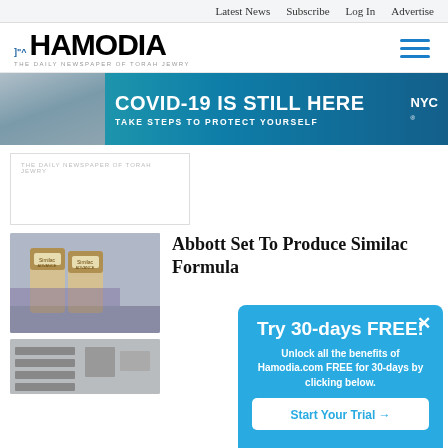Latest News  Subscribe  Log In  Advertise
[Figure (logo): Hamodia newspaper logo with Hebrew text and tagline 'The Daily Newspaper of Torah Jewry']
[Figure (photo): NYC COVID-19 banner advertisement: 'COVID-19 IS STILL HERE - TAKE STEPS TO PROTECT YOURSELF' with person wearing mask, NYC logo]
[Figure (photo): Hamodia placeholder box with tagline text]
[Figure (photo): Photo of Similac formula cans on store shelves]
Abbott Set To Produce Similac Formula
[Figure (photo): Small thumbnail image below Similac article]
[Figure (infographic): Popup modal: Try 30-days FREE! Unlock all the benefits of Hamodia.com FREE for 30-days by clicking below. Start Your Trial button.]